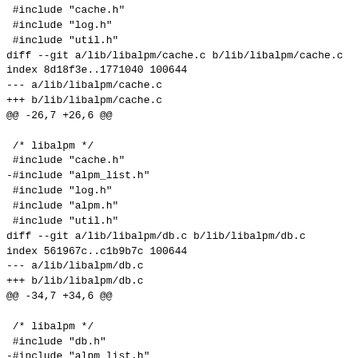#include "cache.h"
 #include "log.h"
 #include "util.h"
diff --git a/lib/libalpm/cache.c b/lib/libalpm/cache.c
index 8d18f3e..1771040 100644
--- a/lib/libalpm/cache.c
+++ b/lib/libalpm/cache.c
@@ -26,7 +26,6 @@

 /* libalpm */
 #include "cache.h"
-#include "alpm_list.h"
 #include "log.h"
 #include "alpm.h"
 #include "util.h"
diff --git a/lib/libalpm/db.c b/lib/libalpm/db.c
index 561967c..c1b9b7c 100644
--- a/lib/libalpm/db.c
+++ b/lib/libalpm/db.c
@@ -34,7 +34,6 @@

 /* libalpm */
 #include "db.h"
-#include "alpm_list.h"
 #include "log.h"
 #include "util.h"
 #include "handle.h"
diff --git a/lib/libalpm/dload.c b/lib/libalpm/dload.c
index 5b0a691..e439b08 100644
--- a/lib/libalpm/dload.c